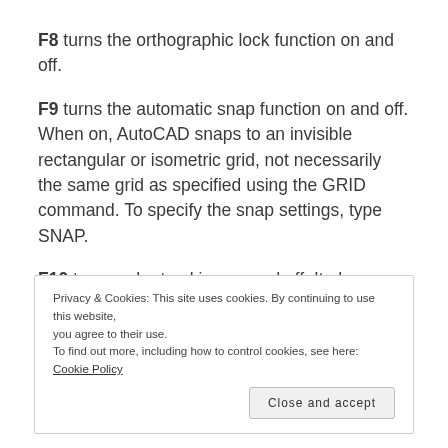F8 turns the orthographic lock function on and off.
F9 turns the automatic snap function on and off. When on, AutoCAD snaps to an invisible rectangular or isometric grid, not necessarily the same grid as specified using the GRID command. To specify the snap settings, type SNAP.
F10 turns polar tracking on and off. It also automatically turns F8 (ortho) off. Polar tracking displays angles and distances while drawing.
Privacy & Cookies: This site uses cookies. By continuing to use this website, you agree to their use.
To find out more, including how to control cookies, see here: Cookie Policy
Close and accept